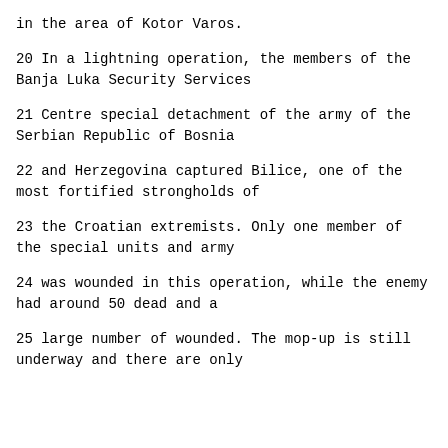in the area of Kotor Varos.
20     In a lightning operation, the members of the Banja Luka Security Services
21     Centre special detachment of the army of the Serbian Republic of Bosnia
22     and Herzegovina captured Bilice, one of the most fortified strongholds of
23     the Croatian extremists.  Only one member of the special units and army
24     was wounded in this operation, while the enemy had around 50 dead and a
25     large number of wounded.  The mop-up is still underway and there are only